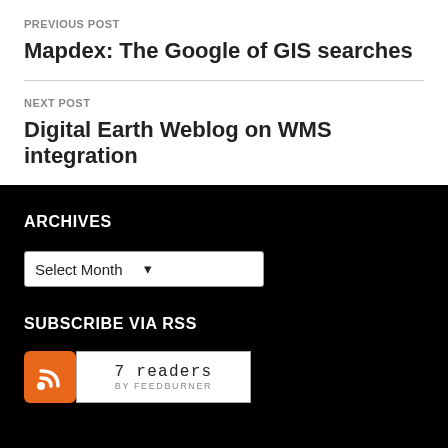PREVIOUS POST
Mapdex: The Google of GIS searches
NEXT POST
Digital Earth Weblog on WMS integration
ARCHIVES
Select Month
SUBSCRIBE VIA RSS
[Figure (logo): RSS feed icon (orange square with white RSS symbol) next to a FeedBurner badge showing '7 readers']